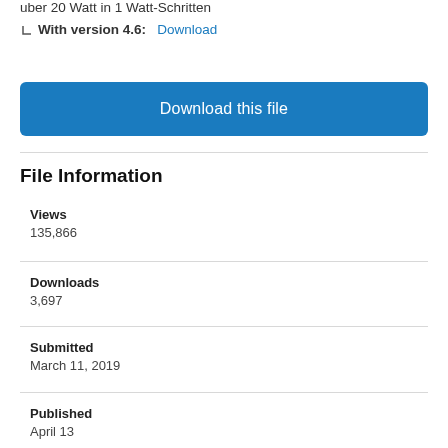uber 20 Watt in 1 Watt-Schritten
With version 4.6:    Download
Download this file
File Information
Views
135,866
Downloads
3,697
Submitted
March 11, 2019
Published
April 13